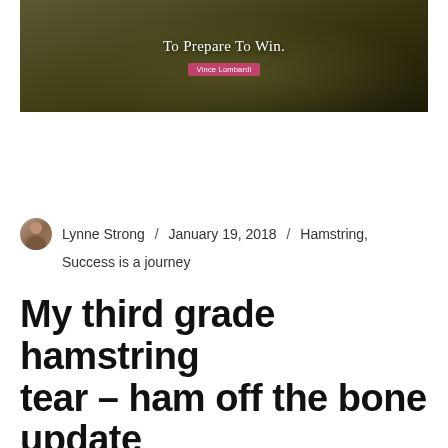[Figure (photo): Motivational quote image over mountain landscape: 'To Prepare To Win.' with attribution 'Vince Lombardi' on a pink/red badge]
Lynne Strong / January 19, 2018 / Hamstring, Success is a journey
My third grade hamstring tear – ham off the bone update